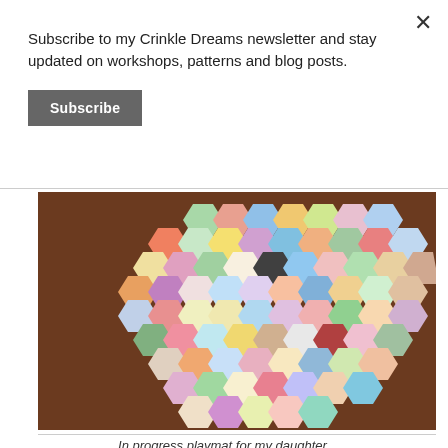Subscribe to my Crinkle Dreams newsletter and stay updated on workshops, patterns and blog posts.
Subscribe
[Figure (photo): A colorful hexagon patchwork quilt playmat in progress, laid out on a wooden surface. The hexagons feature various printed fabrics with animals, patterns, and illustrations in many colors.]
In progress playmat for my daughter.